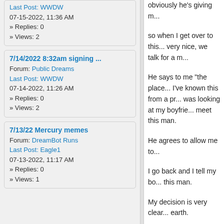Last Post: WWDW
07-15-2022, 11:36 AM
» Replies: 0
» Views: 2
7/14/2022 8:32am signing ...
Forum: Public Dreams
Last Post: WWDW
07-14-2022, 11:26 AM
» Replies: 0
» Views: 2
7/13/22 Mercury memes
Forum: DreamBot Runs
Last Post: Eagle1
07-13-2022, 11:17 AM
» Replies: 0
» Views: 1
obviously he's giving m...
so when I get over to this... very nice, we talk for a m...
He says to me "the place... I've known this from a pr... was looking at my boyfrie... meet this man.
He agrees to allow me to...
I go back and I tell my bo... this man.
My decision is very clear... earth.
I load all of my animals o... feel everything starting to...
It gives a quick jolt to one... I woke up alone and the...